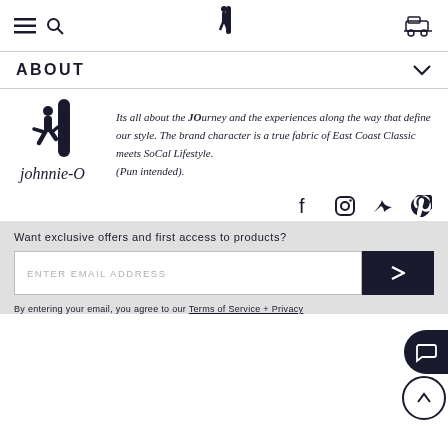Navigation bar with hamburger, search, Johnnie-O logo, and cart icon
ABOUT
[Figure (logo): Johnnie-O brand logo: silhouette of person with surfboard and 'johnnie-O' script text]
Its all about the JOurney and the experiences along the way that define our style. The brand character is a true fabric of East Coast Classic meets SoCal Lifestyle. (Pun intended).
[Figure (infographic): Social media icons: Facebook, Instagram, Twitter, Pinterest]
Want exclusive offers and first access to products?
ENTER EMAIL ADDRESS
By entering your email, you agree to our Terms of Service + Privacy